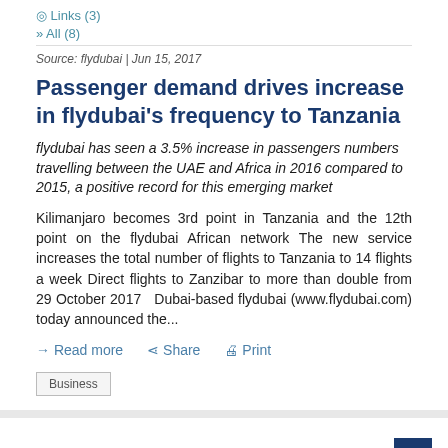Links (3)
All (8)
Source: flydubai | Jun 15, 2017
Passenger demand drives increase in flydubai’s frequency to Tanzania
flydubai has seen a 3.5% increase in passengers numbers travelling between the UAE and Africa in 2016 compared to 2015, a positive record for this emerging market
Kilimanjaro becomes 3rd point in Tanzania and the 12th point on the flydubai African network The new service increases the total number of flights to Tanzania to 14 flights a week Direct flights to Zanzibar to more than double from 29 October 2017   Dubai-based flydubai (www.flydubai.com) today announced the…
Read more  Share  Print
Business
[Figure (logo): flydubai logo with orange italic 'fly' and teal italic 'dubai' with orange dot]